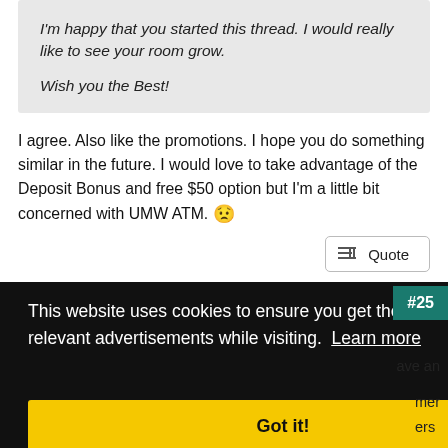I'm happy that you started this thread. I would really like to see your room grow.

Wish you the Best!
I agree. Also like the promotions. I hope you do something similar in the future. I would love to take advantage of the Deposit Bonus and free $50 option but I'm a little bit concerned with UMW ATM. 😟
Quote
#25
This website uses cookies to ensure you get the best experience and relevant advertisements while visiting. Learn more
Got it!
ave an
mer
ers